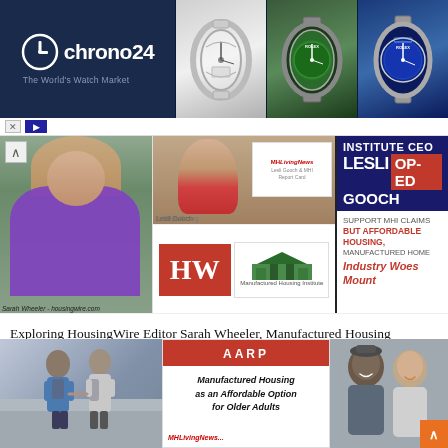[Figure (screenshot): Chrono24 advertisement banner showing watch market logo on dark blue background, with three watch images (skeleton watch, green Rolex, blue Rolex Submariner)]
[Figure (screenshot): Composite article header image showing Sarah Wheeler photo, Lesli Gooch photo with MHI badge, HousingWire logo, MHI logo, and text graphic reading 'INSTITUTE CEO LESLI GOOCH OP-ED SUPPORT MHI CLAIMS BUT AFFORDABLE HOUSING, MANUFACTURED HOME Industry Woes Mount']
Exploring HousingWire Editor Sarah Wheeler, Manufactured Housing Institute CEO Lesli Gooch Op-Ed, Support MHI Claims But Affordable Housing, Manufactured Home Industry Woes Mount
[Figure (screenshot): Bottom image strip showing elderly couple walking, AARP manufactured housing affordable option for older adults promo card, and photo of smiling couple]